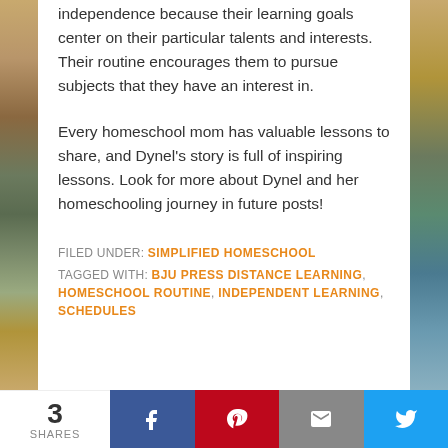independence because their learning goals center on their particular talents and interests. Their routine encourages them to pursue subjects that they have an interest in.
Every homeschool mom has valuable lessons to share, and Dynel's story is full of inspiring lessons. Look for more about Dynel and her homeschooling journey in future posts!
FILED UNDER: SIMPLIFIED HOMESCHOOL
TAGGED WITH: BJU PRESS DISTANCE LEARNING, HOMESCHOOL ROUTINE, INDEPENDENT LEARNING, SCHEDULES
[Figure (infographic): Social share bar at bottom: share count of 3, Facebook button, Pinterest button, Email button, Twitter button]